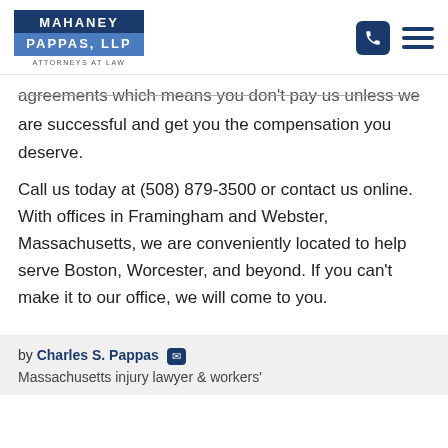Mahaney Pappas, LLP — Attorneys at Law
agreements which means you don't pay us unless we are successful and get you the compensation you deserve.
Call us today at (508) 879-3500 or contact us online. With offices in Framingham and Webster, Massachusetts, we are conveniently located to help serve Boston, Worcester, and beyond. If you can't make it to our office, we will come to you.
by Charles S. Pappas
Massachusetts injury lawyer & workers'